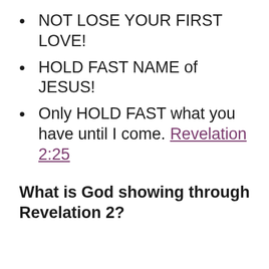NOT LOSE YOUR FIRST LOVE!
HOLD FAST NAME of JESUS!
Only HOLD FAST what you have until I come. Revelation 2:25
What is God showing through Revelation 2?